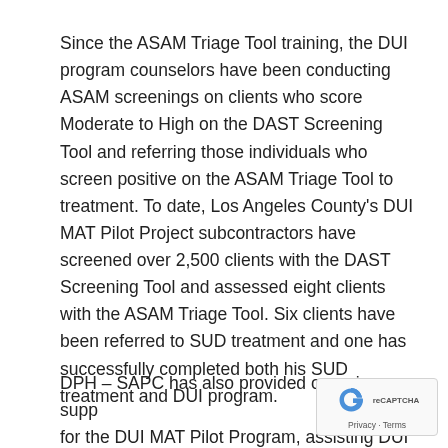Since the ASAM Triage Tool training, the DUI program counselors have been conducting ASAM screenings on clients who score Moderate to High on the DAST Screening Tool and referring those individuals who screen positive on the ASAM Triage Tool to treatment. To date, Los Angeles County's DUI MAT Pilot Project subcontractors have screened over 2,500 clients with the DAST Screening Tool and assessed eight clients with the ASAM Triage Tool. Six clients have been referred to SUD treatment and one has successfully completed both his SUD treatment and DUI program.
DPH – SAPC has also provided on-going support for the DUI MAT Pilot Program, assisting DUI